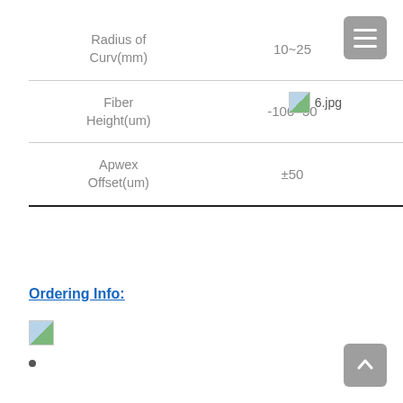|  |  |  |  |
| --- | --- | --- | --- |
| Radius of Curv(mm) | 10~25 | 7~25 | 5~15 |
| Fiber Height(um) | -100~50 | ±50 |  |
| Apwex Offset(um) | ±50 | ±50 |  |
[Figure (photo): Broken image placeholder labeled 6.jpg]
Ordering Info:
[Figure (photo): Broken image placeholder (ordering info image)]